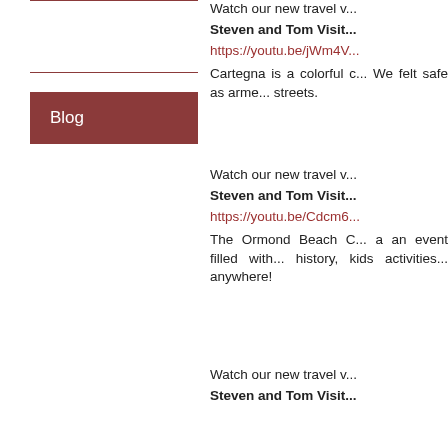Blog
Watch our new travel v... Steven and Tom Visit https://youtu.be/jWm4V... Cartegna is a colorful c... We felt safe as arme... streets.
Watch our new travel v... Steven and Tom Visit https://youtu.be/Cdcm6... The Ormond Beach C... a an event filled with... history, kids activities... anywhere!
Watch our new travel v... Steven and Tom Visit...